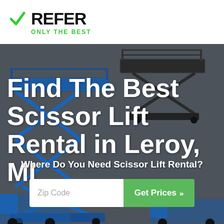[Figure (logo): XRefer logo — large black bold X with green checkmark, followed by 'REFER' in black bold, and 'ONLY THE BEST' tagline in green below]
[Figure (photo): Background photo of blue scissor lift equipment with extended platform, on a dark gray/overcast background]
Find The Best Scissor Lift Rental in Leroy, MI
Where Do You Need Scissor Lift Rental?
Zip Code
Get Prices »